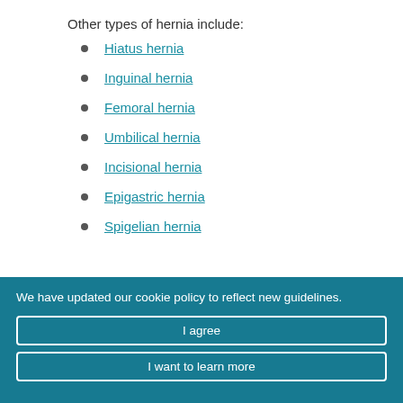Other types of hernia include:
Hiatus hernia
Inguinal hernia
Femoral hernia
Umbilical hernia
Incisional hernia
Epigastric hernia
Spigelian hernia
We have updated our cookie policy to reflect new guidelines. I agree | I want to learn more